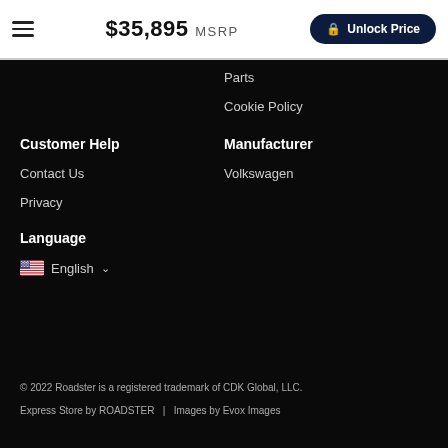$35,895 MSRP | Unlock Price
Parts
Cookie Policy
Customer Help
Manufacturer
Contact Us
Volkswagen
Privacy
Language
English
© 2022 Roadster is a registered trademark of CDK Global, LLC. Express Store by ROADSTER  |  Images by Evox Images